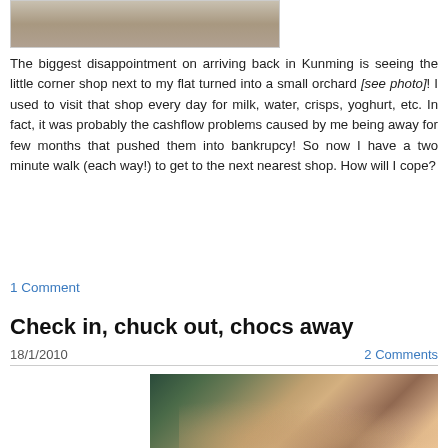[Figure (photo): Top partial photo, appears to be outdoor scene, partially cropped at top of page]
The biggest disappointment on arriving back in Kunming is seeing the little corner shop next to my flat turned into a small orchard [see photo]! I used to visit that shop every day for milk, water, crisps, yoghurt, etc. In fact, it was probably the cashflow problems caused by me being away for few months that pushed them into bankrupcy! So now I have a two minute walk (each way!) to get to the next nearest shop. How will I cope?
1 Comment
Check in, chuck out, chocs away
18/1/2010
2 Comments
[Figure (photo): Photo of three people at what appears to be an airport, two older individuals and one younger person in the middle wearing glasses, with airport signage visible in background]